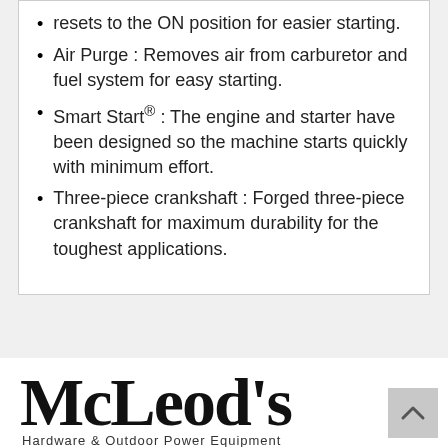resets to the ON position for easier starting.
Air Purge : Removes air from carburetor and fuel system for easy starting.
Smart Start® : The engine and starter have been designed so the machine starts quickly with minimum effort.
Three-piece crankshaft : Forged three-piece crankshaft for maximum durability for the toughest applications.
[Figure (logo): McLeod's cursive script logo with tagline below]